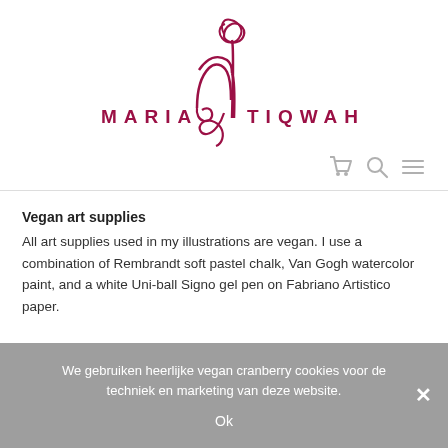[Figure (logo): Maria Tiqwah logo with decorative MT monogram in dark red/crimson, with company name in spaced capital letters]
[Figure (infographic): Navigation icons: shopping cart, search/magnifier, hamburger menu in light gray]
Vegan art supplies
All art supplies used in my illustrations are vegan. I use a combination of Rembrandt soft pastel chalk, Van Gogh watercolor paint, and a white Uni-ball Signo gel pen on Fabriano Artistico paper.
No designer breeds
We gebruiken heerlijke vegan cranberry cookies voor de techniek en marketing van deze website.
Ok